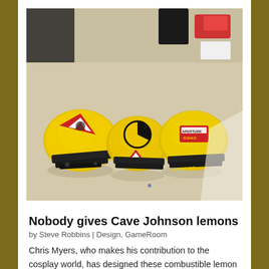[Figure (photo): Three yellow lemons fitted with black mechanical clamp devices and stickers, sitting on a beige surface. The lemons have logos/stickers on them including what appears to be Aperture Science branding from the Portal video game series. Background shows a cluttered workbench with various items.]
Nobody gives Cave Johnson lemons
by Steve Robbins | Design, GameRoom
Chris Myers, who makes his contribution to the cosplay world, has designed these combustible lemon grenades. Everything that needs to go into these lemon grenades is there. The only difference is